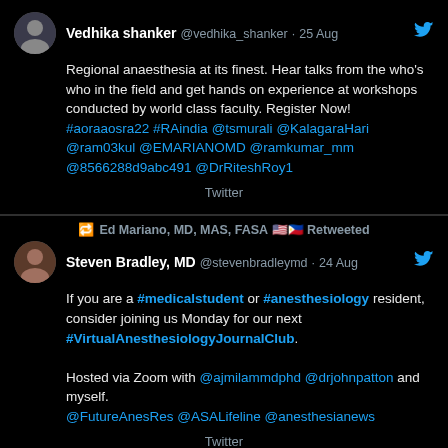Vedhika shanker @vedhika_shanker · 25 Aug
Regional anaesthesia at its finest. Hear talks from the who's who in the field and get hands on experience at workshops conducted by world class faculty. Register Now! #aoraaosra22 #RAindia @tsmurali @KalagaraHari @ram03kul @EMARIANOMD @ramkumar_mm @8566288d9abc491 @DrRiteshRoy1
Twitter
Ed Mariano, MD, MAS, FASA Retweeted
Steven Bradley, MD @stevenbradleymd · 24 Aug
If you are a #medicalstudent or #anesthesiology resident, consider joining us Monday for our next #VirtualAnesthesiologyJournalClub.

Hosted via Zoom with @ajmilammdphd @drjohnpatton and myself.
@FutureAnesRes @ASALifeline @anesthesianews
Twitter